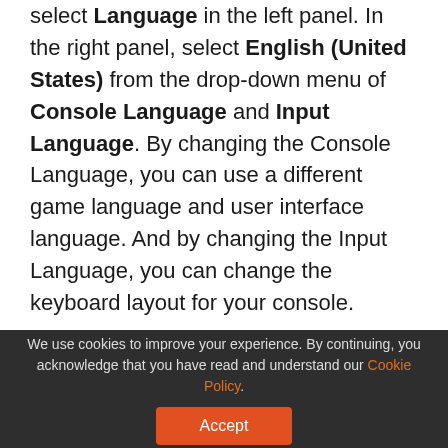select Language in the left panel. In the right panel, select English (United States) from the drop-down menu of Console Language and Input Language. By changing the Console Language, you can use a different game language and user interface language. And by changing the Input Language, you can change the keyboard layout for your console.
Method 3: Reinstall the Problematic Game or Application
We use cookies to improve your experience. By continuing, you acknowledge that you have read and understand our Cookie Policy.